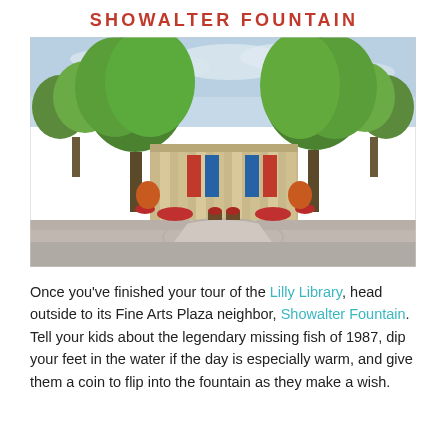SHOWALTER FOUNTAIN
[Figure (photo): Outdoor photo of a neoclassical building (Indiana University Fine Arts building) framed by large green trees, with a wide paved plaza and red floral plantings in front, under a partly cloudy sky.]
Once you've finished your tour of the Lilly Library, head outside to its Fine Arts Plaza neighbor, Showalter Fountain. Tell your kids about the legendary missing fish of 1987, dip your feet in the water if the day is especially warm, and give them a coin to flip into the fountain as they make a wish.